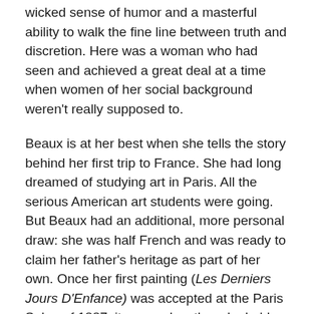wicked sense of humor and a masterful ability to walk the fine line between truth and discretion. Here was a woman who had seen and achieved a great deal at a time when women of her social background weren't really supposed to.
Beaux is at her best when she tells the story behind her first trip to France. She had long dreamed of studying art in Paris. All the serious American art students were going. But Beaux had an additional, more personal draw: she was half French and was ready to claim her father's heritage as part of her own. Once her first painting (Les Derniers Jours D'Enfance) was accepted at the Paris Salon of 1887, it seemed as though she'd earned the right to go.
But she couldn't go alone. In spite of the fact that she was